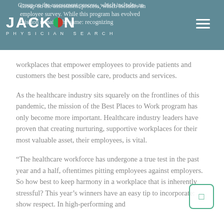Group on the assessment process, which includes an employee survey. While this program has evolved the mission remains the same: recognizing
[Figure (logo): Jackson Physician Search logo with colored dot in the O and tagline 'Physician Search']
workplaces that empower employees to provide patients and customers the best possible care, products and services.
As the healthcare industry sits squarely on the frontlines of this pandemic, the mission of the Best Places to Work program has only become more important. Healthcare industry leaders have proven that creating nurturing, supportive workplaces for their most valuable asset, their employees, is vital.
“The healthcare workforce has undergone a true test in the past year and a half, oftentimes pitting employees against employers. So how best to keep harmony in a workplace that is inherently stressful? This year’s winners have an easy tip to incorporate: show respect. In high-performing and